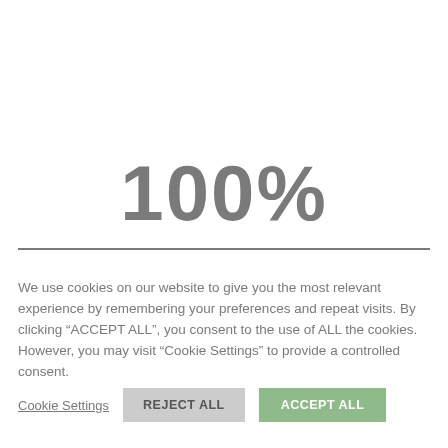100%
We use cookies on our website to give you the most relevant experience by remembering your preferences and repeat visits. By clicking “ACCEPT ALL”, you consent to the use of ALL the cookies. However, you may visit “Cookie Settings” to provide a controlled consent.
Cookie Settings | REJECT ALL | ACCEPT ALL